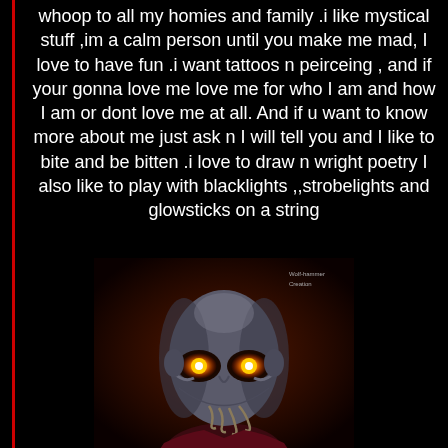whoop to all my homies and family .i like mystical stuff ,im a calm person until you make me mad, I love to have fun .i want tattoos n peirceing , and if your gonna love me love me for who I am and how I am or dont love me at all. And if u want to know more about me just ask n I will tell you and I like to bite and be bitten .i love to draw n wright poetry I also like to play with blacklights ,,strobelights and glowsticks on a string
[Figure (illustration): Dark fantasy illustration of a demonic bald figure with glowing orange eyes, sharp facial features, tentacle-like appendages near the mouth, wearing dark reddish clothing, against a dark reddish-brown background. Watermark text reads 'Wolf-hammer Creation'.]